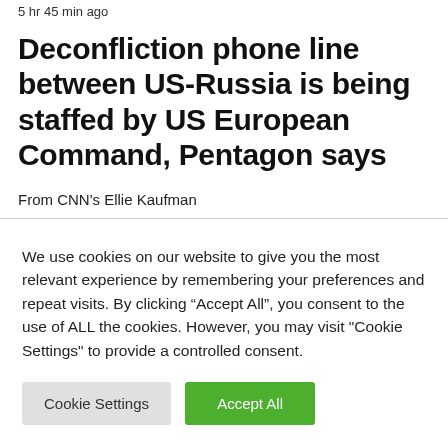5 hr 45 min ago
Deconfliction phone line between US-Russia is being staffed by US European Command, Pentagon says
From CNN's Ellie Kaufman
We use cookies on our website to give you the most relevant experience by remembering your preferences and repeat visits. By clicking “Accept All”, you consent to the use of ALL the cookies. However, you may visit "Cookie Settings" to provide a controlled consent.